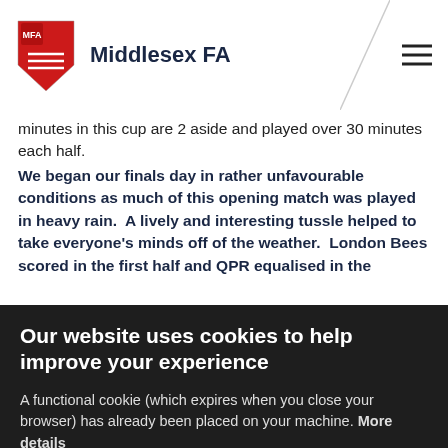Middlesex FA
minutes in this cup are 2 aside and played over 30 minutes each half.
We began our finals day in rather unfavourable conditions as much of this opening match was played in heavy rain.  A lively and interesting tussle helped to take everyone's minds off of the weather.  London Bees scored in the first half and QPR equalised in the
Our website uses cookies to help improve your experience
A functional cookie (which expires when you close your browser) has already been placed on your machine. More details
ACCEPT COOKIES